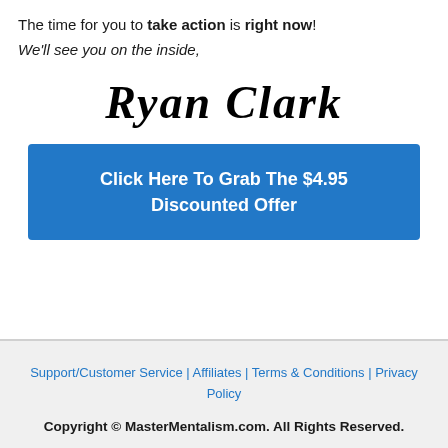The time for you to take action is right now!
We'll see you on the inside,
[Figure (illustration): Handwritten signature reading 'Ryan Clark' in cursive script]
Click Here To Grab The $4.95 Discounted Offer
Support/Customer Service | Affiliates | Terms & Conditions | Privacy Policy
Copyright © MasterMentalism.com. All Rights Reserved.